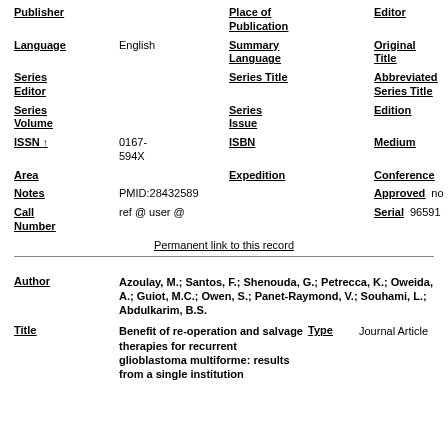| Field | Value | Field | Value |
| --- | --- | --- | --- |
| Publisher |  | Place of Publication | Editor |  |
| Language | English | Summary Language | Original Title |  |
| Series Editor |  | Series Title | Abbreviated Series Title |  |
| Series Volume |  | Series Issue | Edition |  |
| ISSN ↑ | 0167-594X | ISBN | Medium |  |
| Area |  | Expedition | Conference |  |
| Notes | PMID:28432589 |  | Approved | no |
| Call Number | ref @ user @ |  | Serial | 96591 |
Permanent link to this record
| Field | Value |
| --- | --- |
| Author | Azoulay, M.; Santos, F.; Shenouda, G.; Petrecca, K.; Oweida, A.; Guiot, M.C.; Owen, S.; Panet-Raymond, V.; Souhami, L.; Abdulkarim, B.S. |
| Title | Benefit of re-operation and salvage therapies for recurrent glioblastoma multiforme: results from a single institution | Type | Journal Article |